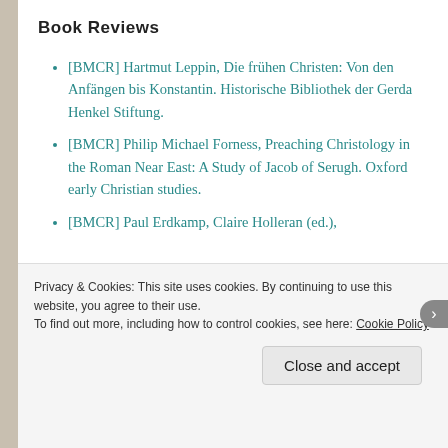Book Reviews
[BMCR] Hartmut Leppin, Die frühen Christen: Von den Anfängen bis Konstantin. Historische Bibliothek der Gerda Henkel Stiftung.
[BMCR] Philip Michael Forness, Preaching Christology in the Roman Near East: A Study of Jacob of Serugh. Oxford early Christian studies.
[BMCR] Paul Erdkamp, Claire Holleran (ed.),
Privacy & Cookies: This site uses cookies. By continuing to use this website, you agree to their use.
To find out more, including how to control cookies, see here: Cookie Policy
Close and accept